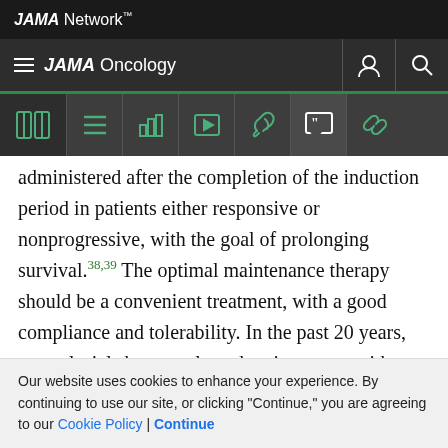JAMA Network
JAMA Oncology
administered after the completion of the induction period in patients either responsive or nonprogressive, with the goal of prolonging survival.38,39 The optimal maintenance therapy should be a convenient treatment, with a good compliance and tolerability. In the past 20 years, several trials have evaluated maintenance with either 1 or more of these drugs. Most trials showed the benefit of long-term novel agent-based treatment in both
Our website uses cookies to enhance your experience. By continuing to use our site, or clicking "Continue," you are agreeing to our Cookie Policy | Continue